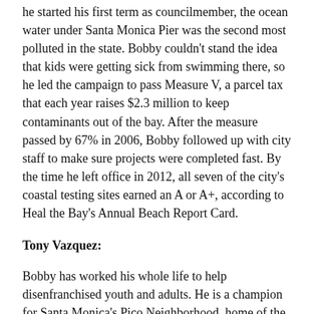he started his first term as councilmember, the ocean water under Santa Monica Pier was the second most polluted in the state. Bobby couldn't stand the idea that kids were getting sick from swimming there, so he led the campaign to pass Measure V, a parcel tax that each year raises $2.3 million to keep contaminants out of the bay. After the measure passed by 67% in 2006, Bobby followed up with city staff to make sure projects were completed fast. By the time he left office in 2012, all seven of the city's coastal testing sites earned an A or A+, according to Heal the Bay's Annual Beach Report Card.
Tony Vazquez:
Bobby has worked his whole life to help disenfranchised youth and adults. He is a champion for Santa Monica's Pico Neighborhood, home of the city's highest concentration of low-income families. When our community needed a library, he made sure we got it. He is a stalwart supporter of the Pico Youth and Family Center and its important work to provide academic support, job